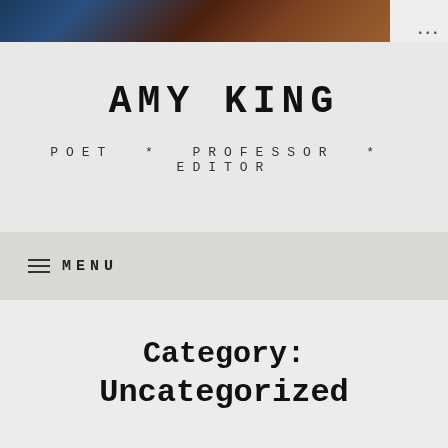[Figure (photo): Partial header photo showing blurred portrait/person image cropped at top]
AMY KING
POET * PROFESSOR * EDITOR
≡ MENU
Category:
Uncategorized